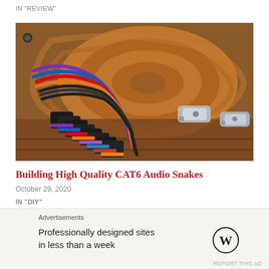IN "REVIEW"
[Figure (photo): Coiled orange audio snake cables with colorful XLR connectors (purple, blue, red, orange bands) on the left and silver connectors on the right, laid on a wooden surface.]
Building High Quality CAT6 Audio Snakes
October 29, 2020
IN "DIY"
Advertisements
Professionally designed sites in less than a week